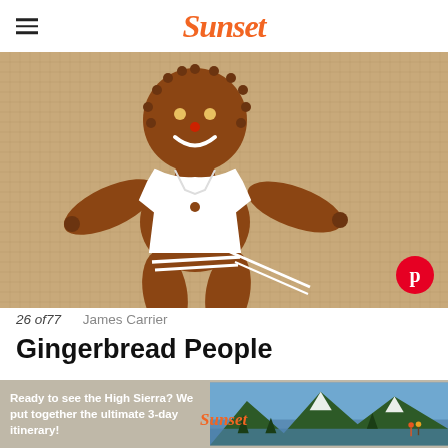Sunset
[Figure (photo): A decorated gingerbread man cookie lying on a burlap surface. The cookie has white royal icing decorating the shirt/body area, small candy eyes (yellow and red), and a white icing smile. The gingerbread figure has round holes along the head edge and round holes at the ends of limbs.]
26 of77    James Carrier
Gingerbread People
The holidays are not complete without crisp, molasses-flavored gingerbread men and women.
[Figure (photo): Advertisement banner: 'Ready to see the High Sierra? We put together the ultimate 3-day itinerary!' with Sunset logo and a photograph of a mountain lake with pine trees and two hikers in the background.]